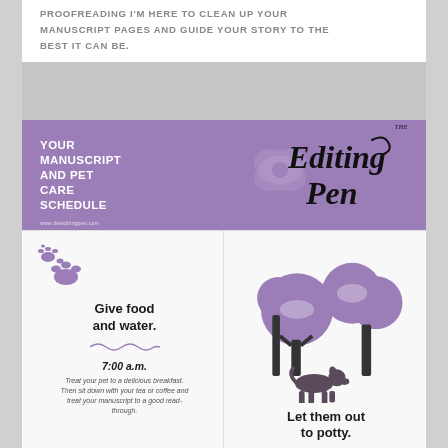PROOFREADING I'M HERE TO CLEAN UP YOUR MANUSCRIPT PAGES AND GUIDE YOUR STORY TO THE BEST IT CAN BE.
[Figure (infographic): Purple banner with white bold text 'YOUR MANUSCRIPT AND PET CARE SCHEDULE' on the left, and a cursive script 'The Editing Pen' logo on the right with decorative swirls on a purple background.]
[Figure (infographic): Two-panel infographic. Left panel: purple paw prints icon, bold text 'Give food and water.' with a wavy underline, '7:00 a.m.' in bold italic, and italic smaller text 'Treat your pet to a delicious breakfast. Then sit down with your tea or coffee and treat your manuscript to a good read-through.' Right panel: illustrated trees with purple foliage and a dog silhouette, with bold text 'Let them out to potty.']